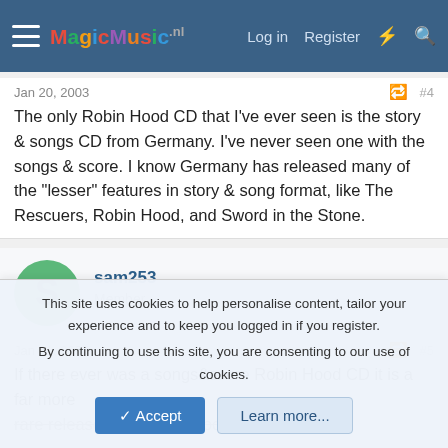MagicMusic.nl — Log in | Register
Jan 20, 2003  #4
The only Robin Hood CD that I've ever seen is the story & songs CD from Germany. I've never seen one with the songs & score. I know Germany has released many of the "lesser" features in story & song format, like The Rescuers, Robin Hood, and Sword in the Stone.
sam253
Member
Jan 21, 2003  #5
If there ever was a songs&score Robin Hood CD it is a far more rare release than the Aristocats CD.
This site uses cookies to help personalise content, tailor your experience and to keep you logged in if you register.
By continuing to use this site, you are consenting to our use of cookies.